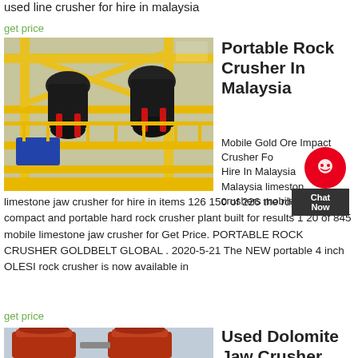used line crusher for hire in malaysia
get price
[Figure (photo): Yellow industrial portable rock crusher machinery on a platform with black crusher units and red/blue components]
Portable Rock Crusher In Malaysia
Mobile Gold Ore Impact Crusher For Hire In Malaysia Malaysia limestone crushers mobile limestone jaw crusher for hire in items 126 150 of 226 the rdgk is a compact and portable hard rock crusher plant built for results 1 20 of 845 mobile limestone jaw crusher for Get Price. PORTABLE ROCK CRUSHER GOLDBELT GLOBAL . 2020-5-21 The NEW portable 4 inch OLESI rock crusher is now available in
get price
[Figure (photo): Orange/rust colored dolomite jaw crusher machinery against a cloudy sky]
Used Dolomite Jaw Crusher For Hire